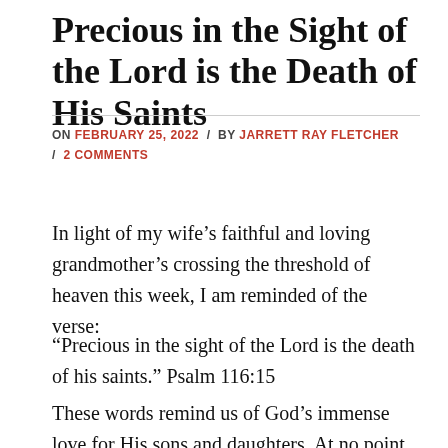Precious in the Sight of the Lord is the Death of His Saints
ON FEBRUARY 25, 2022 / BY JARRETT RAY FLETCHER / 2 COMMENTS
In light of my wife’s faithful and loving grandmother’s crossing the threshold of heaven this week, I am reminded of the verse:
“Precious in the sight of the Lord is the death of his saints.” Psalm 116:15
These words remind us of God’s immense love for His sons and daughters. At no point in their lives is he a